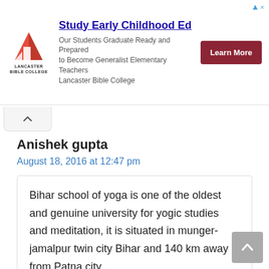[Figure (screenshot): Advertisement banner for Lancaster Bible College — Study Early Childhood Ed. Logo on left, title and description text in center, red 'Learn More' button on right.]
Anishek gupta
August 18, 2016 at 12:47 pm
Bihar school of yoga is one of the oldest and genuine university for yogic studies and meditation, it is situated in munger-jamalpur twin city Bihar and 140 km away from Patna city.